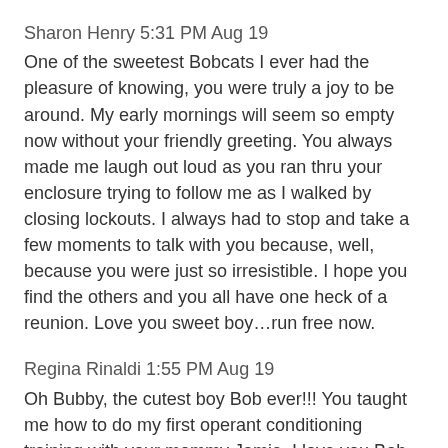Sharon Henry 5:31 PM Aug 19
One of the sweetest Bobcats I ever had the pleasure of knowing, you were truly a joy to be around. My early mornings will seem so empty now without your friendly greeting. You always made me laugh out loud as you ran thru your enclosure trying to follow me as I walked by closing lockouts. I always had to stop and take a few moments to talk with you because, well, because you were just so irresistible. I hope you find the others and you all have one heck of a reunion. Love you sweet boy…run free now.
Regina Rinaldi 1:55 PM Aug 19
Oh Bubby, the cutest boy Bob ever!!! You taught me how to do my first operant conditioning training with your mommy Jamie. I love you Bob. Run free with your sister Lil Feather. I hope you're there to greet me when I cross the